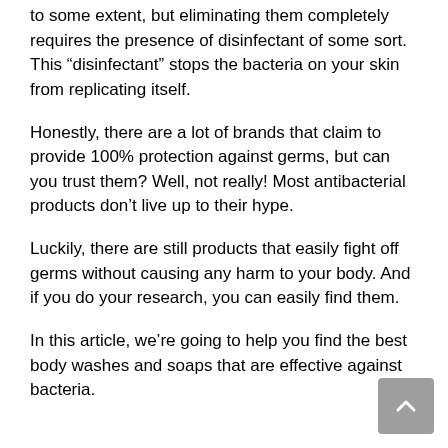to some extent, but eliminating them completely requires the presence of disinfectant of some sort. This “disinfectant” stops the bacteria on your skin from replicating itself.
Honestly, there are a lot of brands that claim to provide 100% protection against germs, but can you trust them? Well, not really! Most antibacterial products don’t live up to their hype.
Luckily, there are still products that easily fight off germs without causing any harm to your body. And if you do your research, you can easily find them.
In this article, we’re going to help you find the best body washes and soaps that are effective against bacteria.